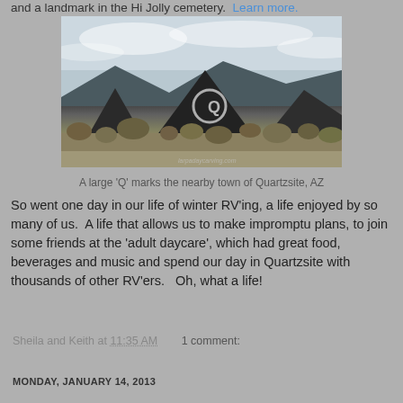and a landmark in the Hi Jolly cemetery.  Learn more.
[Figure (photo): A large Q mark on a dark desert mountain near Quartzsite, AZ with scrubby desert vegetation in foreground and overcast sky]
A large 'Q' marks the nearby town of Quartzsite, AZ
So went one day in our life of winter RV'ing, a life enjoyed by so many of us.  A life that allows us to make impromptu plans, to join some friends at the 'adult daycare', which had great food, beverages and music and spend our day in Quartzsite with thousands of other RV'ers.   Oh, what a life!
Sheila and Keith at 11:35 AM  1 comment:
MONDAY, JANUARY 14, 2013